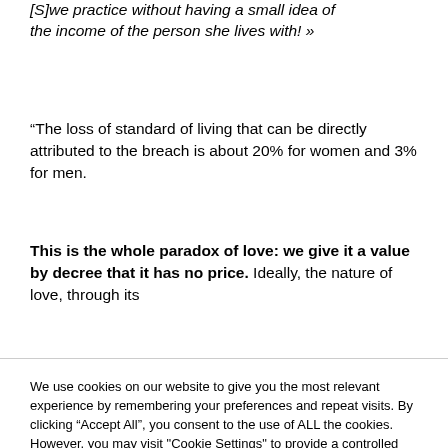[S]we practice without having a small idea of the income of the person she lives with! »
“The loss of standard of living that can be directly attributed to the breach is about 20% for women and 3% for men.
This is the whole paradox of love: we give it a value by decree that it has no price. Ideally, the nature of love, through its
We use cookies on our website to give you the most relevant experience by remembering your preferences and repeat visits. By clicking “Accept All”, you consent to the use of ALL the cookies. However, you may visit "Cookie Settings" to provide a controlled consent.